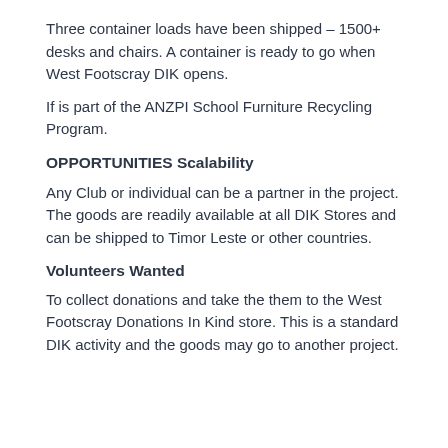Three container loads have been shipped – 1500+ desks and chairs. A container is ready to go when West Footscray DIK opens.
If is part of the ANZPI School Furniture Recycling Program.
OPPORTUNITIES Scalability
Any Club or individual can be a partner in the project. The goods are readily available at all DIK Stores and can be shipped to Timor Leste or other countries.
Volunteers Wanted
To collect donations and take the them to the West Footscray Donations In Kind store. This is a standard DIK activity and the goods may go to another project.